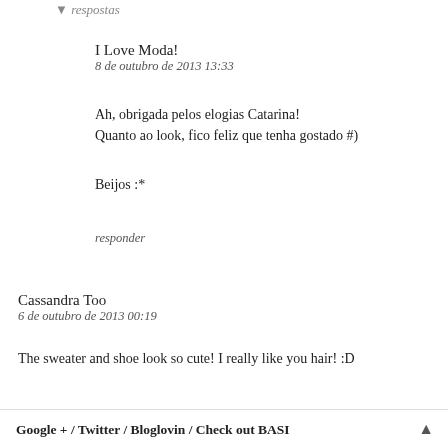respostas
I Love Moda!
8 de outubro de 2013 13:33
Ah, obrigada pelos elogias Catarina!
Quanto ao look, fico feliz que tenha gostado #)
Beijos :*
responder
Cassandra Too
6 de outubro de 2013 00:19
The sweater and shoe look so cute! I really like you hair! :D
Google + / Twitter / Bloglovin / Check out BASI